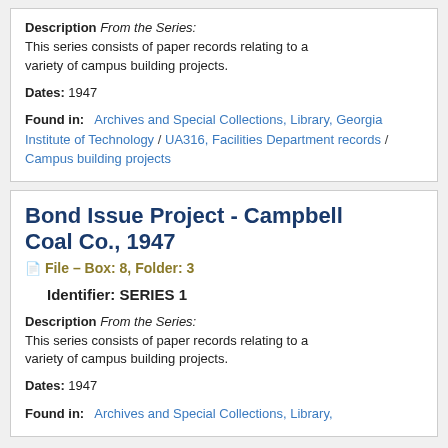Description From the Series: This series consists of paper records relating to a variety of campus building projects.
Dates: 1947
Found in: Archives and Special Collections, Library, Georgia Institute of Technology / UA316, Facilities Department records / Campus building projects
Bond Issue Project - Campbell Coal Co., 1947
File – Box: 8, Folder: 3
Identifier: SERIES 1
Description From the Series: This series consists of paper records relating to a variety of campus building projects.
Dates: 1947
Found in: Archives and Special Collections, Library,